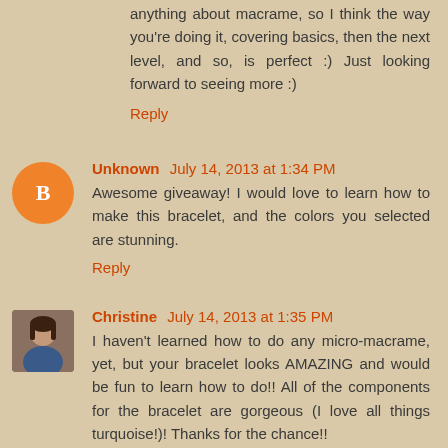anything about macrame, so I think the way you're doing it, covering basics, then the next level, and so, is perfect :) Just looking forward to seeing more :)
Reply
Unknown July 14, 2013 at 1:34 PM
Awesome giveaway! I would love to learn how to make this bracelet, and the colors you selected are stunning.
Reply
Christine July 14, 2013 at 1:35 PM
I haven't learned how to do any micro-macrame, yet, but your bracelet looks AMAZING and would be fun to learn how to do!! All of the components for the bracelet are gorgeous (I love all things turquoise!)! Thanks for the chance!!
Reply